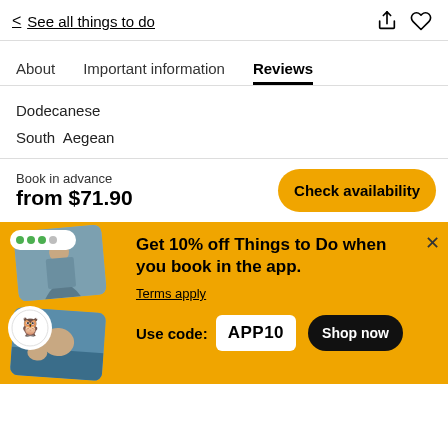< See all things to do
About   Important information   Reviews
Dodecanese
South Aegean
Book in advance
from $71.90
Check availability
Get 10% off Things to Do when you book in the app. Terms apply
Use code: APP10
Shop now